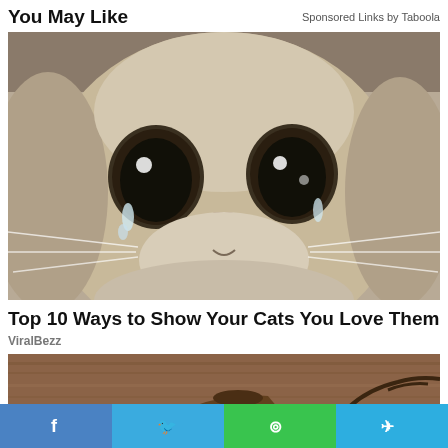You May Like
Sponsored Links by Taboola
[Figure (photo): Close-up photo of a sad-looking cat with large teary eyes, grey-white fluffy fur, whiskers and nose filling the frame]
Top 10 Ways to Show Your Cats You Love Them
ViralBezz
[Figure (photo): Partial photo of objects on a wooden surface]
f  (twitter)  (whatsapp)  (telegram)